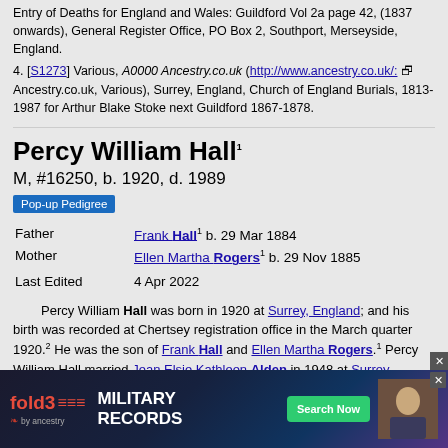Entry of Deaths for England and Wales: Guildford Vol 2a page 42, (1837 onwards), General Register Office, PO Box 2, Southport, Merseyside, England.
[S1273] Various, A0000 Ancestry.co.uk (http://www.ancestry.co.uk/: Ancestry.co.uk, Various), Surrey, England, Church of England Burials, 1813-1987 for Arthur Blake Stoke next Guildford 1867-1878.
Percy William Hall
M, #16250, b. 1920, d. 1989
Pop-up Pedigree
| Field | Value |
| --- | --- |
| Father | Frank Hall b. 29 Mar 1884 |
| Mother | Ellen Martha Rogers b. 29 Nov 1885 |
| Last Edited | 4 Apr 2022 |
Percy William Hall was born in 1920 at Surrey, England; and his birth was recorded at Chertsey registration office in the March quarter 1920. He was the son of Frank Hall and Ellen Martha Rogers. Percy William Hall married Jean Elsie Kathleen Alden in 1948 at Surrey, ... Surrey S ... 3. Percy W...
[Figure (other): fold3 MILITARY RECORDS advertisement overlay with Search Now button and ancestry logo]